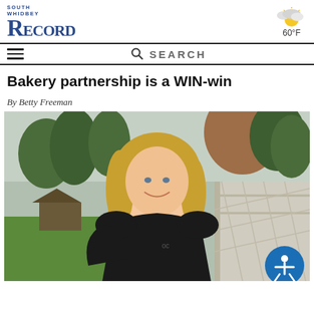South Whidbey Record
Bakery partnership is a WIN-win
By Betty Freeman
[Figure (photo): A smiling woman with blonde hair wearing a black t-shirt, standing on a deck or porch with trees and a garden in the background.]